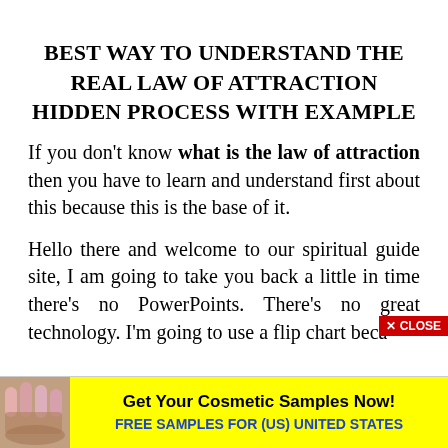BEST WAY TO UNDERSTAND THE REAL LAW OF ATTRACTION HIDDEN PROCESS WITH EXAMPLE
If you don't know what is the law of attraction then you have to learn and understand first about this because this is the base of it.
Hello there and welcome to our spiritual guide site, I am going to take you back a little in time there's no PowerPoints. There's no great technology. I'm going to use a flip chart beca...
[Figure (photo): Advertisement banner: cosmetic nail image on left, yellow background with text 'Get Your Cosmetic Samples Now!' and 'FREE SAMPLES FOR (US) UNITED STATES' in blue. Red 'X CLOSE' button overlay.]